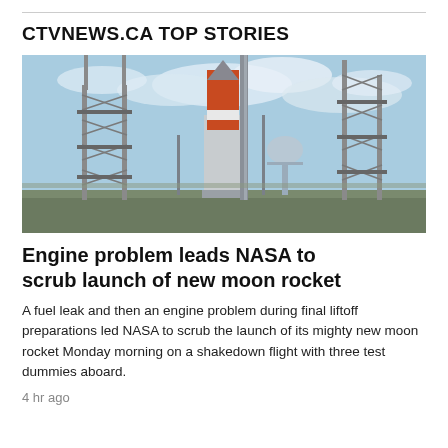CTVNEWS.CA TOP STORIES
[Figure (photo): NASA Space Launch System (SLS) rocket on launch pad at Kennedy Space Center, flanked by tall metal launch towers, with a water tower visible in the background and cloudy blue sky above.]
Engine problem leads NASA to scrub launch of new moon rocket
A fuel leak and then an engine problem during final liftoff preparations led NASA to scrub the launch of its mighty new moon rocket Monday morning on a shakedown flight with three test dummies aboard.
4 hr ago